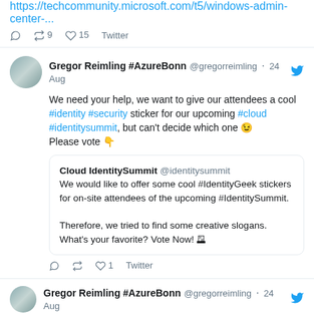https://techcommunity.microsoft.com/t5/windows-admin-center-...
Reply Retweet 9 Like 15 Twitter
Gregor Reimling #AzureBonn @gregorreimling · 24 Aug
We need your help, we want to give our attendees a cool #identity #security sticker for our upcoming #cloud #identitysummit, but can't decide which one 😉 Please vote 👇
Cloud IdentitySummit @identitysummit
We would like to offer some cool #IdentityGeek stickers for on-site attendees of the upcoming #IdentitySummit.

Therefore, we tried to find some creative slogans. What's your favorite? Vote Now! 🗳
Reply Retweet Like 1 Twitter
Gregor Reimling #AzureBonn @gregorreimling · 24 Aug